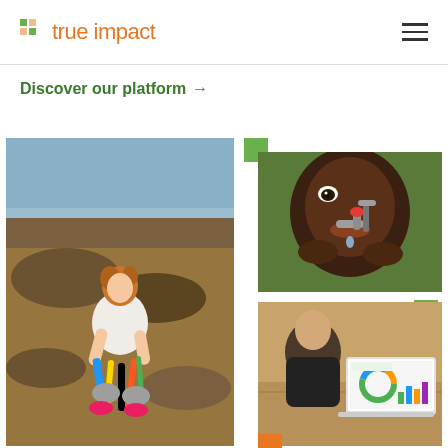true impact
Discover our platform →
[Figure (photo): Woman crouching on a rocky beach collecting colorful plastic debris]
[Figure (photo): Close-up of a young African child drinking water from a metal tap/faucet]
[Figure (photo): Person sitting at a table looking at a laptop or tablet showing charts and data]